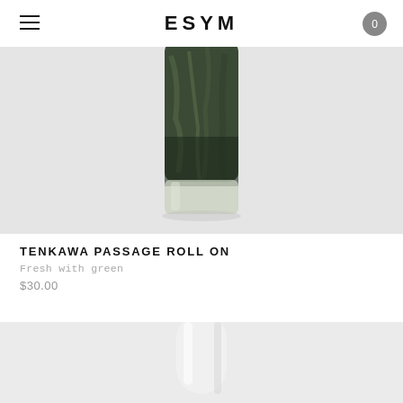ESYM
[Figure (photo): Close-up product photo of a roll-on perfume bottle with dark green marbled top and clear glass base, on light grey background]
TENKAWA PASSAGE ROLL ON
Fresh with green
$30.00
[Figure (photo): Partial product photo of a white/matte roll-on bottle top on light grey background]